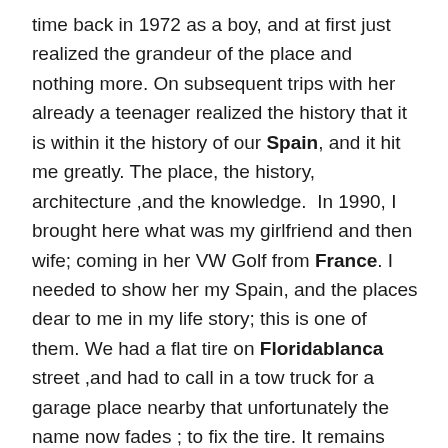time back in 1972 as a boy, and at first just realized the grandeur of the place and nothing more. On subsequent trips with her already a teenager realized the history that it is within it the history of our Spain, and it hit me greatly. The place, the history, architecture ,and the knowledge.  In 1990, I brought here what was my girlfriend and then wife; coming in her VW Golf from France. I needed to show her my Spain, and the places dear to me in my life story; this is one of them. We had a flat tire on Floridablanca  street ,and had to call in a tow truck for a garage place nearby that unfortunately the name now fades ; to fix the tire. It remains one of the anecdotes of coming here.
Do not know why when on previous trips we went someplace else and never had come with the boys until now. Well they are now young men, and better to